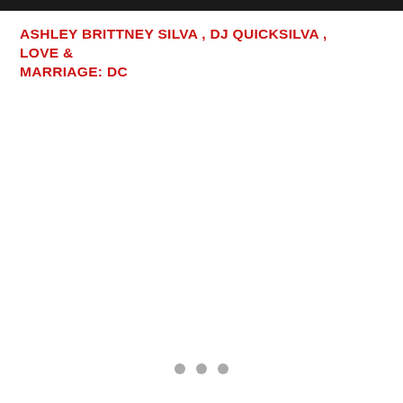ASHLEY BRITTNEY SILVA , DJ QUICKSILVA , LOVE & MARRIAGE: DC